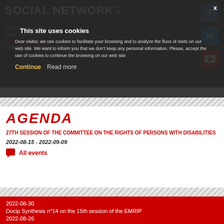SOCIAL NETWORK
Dear visitor, we use cookies to facilitate your browsing and to analyze the fluxs of visits on our web site. We want to inform you that we don't keep any personal information. Please, accept the use of cookies to continue the browsing on our web site
Continue   Read more
AGENDA
27TH SESSION OF THE COMMITTEE ON THE RIGHTS OF PERSONS WITH DISABILITIES
2022-08-15 - 2022-09-09
All events
2022-08-30
Docip Synthesis n°14 on the 15th session of the EMRIP
2022-08-26